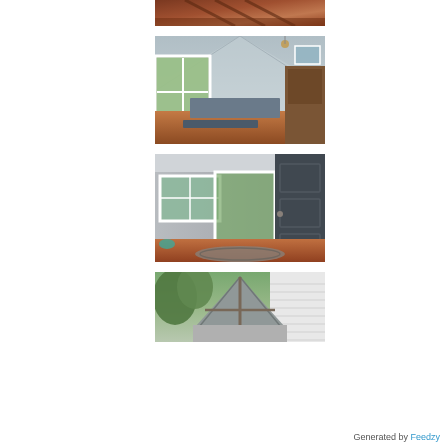[Figure (photo): Partial view of an interior room with reddish-brown floors and wooden beams/stairs, cropped at top of page]
[Figure (photo): Interior dining area with vaulted ceiling, blue/gray dining table with bench, French doors leading to a deck, warm wood floors, ceiling light fixture]
[Figure (photo): Home entryway with open dark door, window with grid panes, view to outdoor patio, round braided rug on floor, teal decorative item]
[Figure (photo): Exterior roofline of house showing peaked gable with wooden beam detail, white siding, green trees in background — partially cropped at bottom of page]
Generated by Feedzy